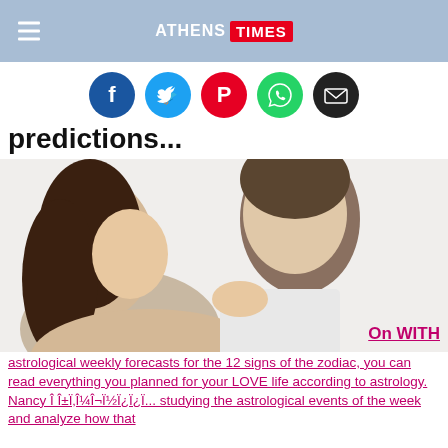ATHENS TIMES
[Figure (infographic): Social media share icons: Facebook (blue), Twitter (light blue), Pinterest (red), WhatsApp (green), Email (black)]
predictions...
[Figure (photo): A couple about to kiss; a woman holds a man's chin as they face each other closely against a white background]
On WITH astrological weekly forecasts for the 12 signs of the zodiac, you can read everything you planned for your LOVE life according to astrology. Nancy Î Î±Ï‚Î¼Î¬Ï½Ï¿Ï¿Ï... studying the astrological events of the week and analyze how that